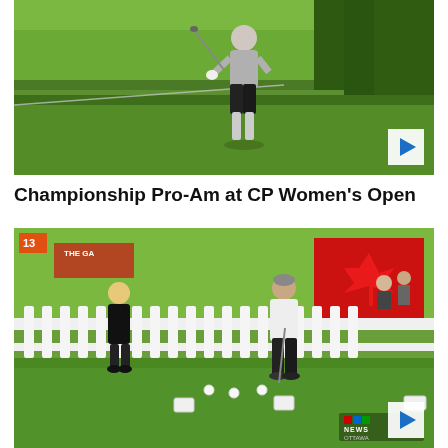[Figure (screenshot): Video thumbnail showing a golfer from behind, walking on a green fairway with trees on the right side. The golfer is wearing a grey shirt and black shorts, holding a golf club.]
Championship Pro-Am at CP Women's Open
[Figure (screenshot): Video thumbnail showing a TV interview scene at the CP Women's Open golf tournament. A blonde woman in black and a man in a white shirt stand on a putting green. A white picket fence and Canadian maple leaf banner are visible in the background. CTV News Ottawa logo is visible in the bottom right.]